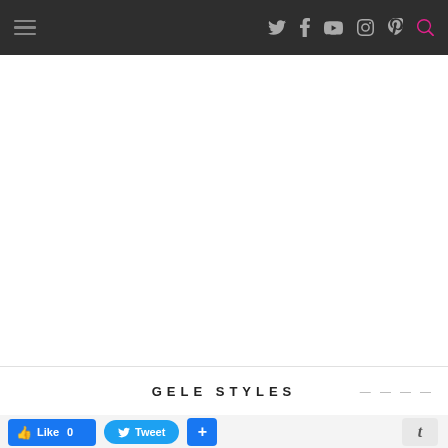Navigation bar with hamburger menu and social icons: Twitter, Facebook, YouTube, Instagram, Pinterest, Search
[Figure (screenshot): White blank content area]
GELE STYLES
Like 0  Tweet  +  t (social sharing buttons)